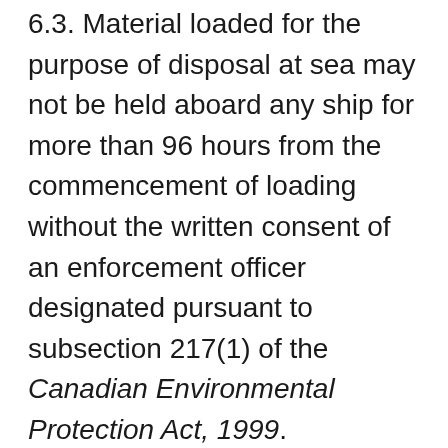6.3. Material loaded for the purpose of disposal at sea may not be held aboard any ship for more than 96 hours from the commencement of loading without the written consent of an enforcement officer designated pursuant to subsection 217(1) of the Canadian Environmental Protection Act, 1999.
6.4. The loading and transit shall be completed in a manner that ensures that no material contaminates the marine environment, notably the harbour and adjacent beaches. The Permittee shall also ensure that the loading sites are cleaned